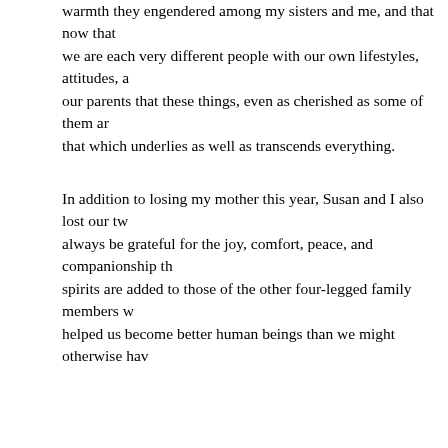warmth they engendered among my sisters and me, and that now that we are each very different people with our own lifestyles, attitudes, and our parents that these things, even as cherished as some of them are, that which underlies as well as transcends everything.
In addition to losing my mother this year, Susan and I also lost our two always be grateful for the joy, comfort, peace, and companionship the spirits are added to those of the other four-legged family members who helped us become better human beings than we might otherwise have.
I am also immeasurably grateful for the loved ones who have stood with laughed with me, and listened, counseled, or sat in silence with me, many times past.   My amazing spouse, Susan, and her sweet family, the way, each sharing in the grief and the joys because they all loved. Countless friends and coworkers, many of whom have been coping with reached out to offer sympathy, compassion, and support in their own touched me deeply.
So, what in the heck could I possibly mean when I say I am giving tha of this year have quickened my appreciation for the fact that my deep any thing, no object or possession, and not even for the physical pre.